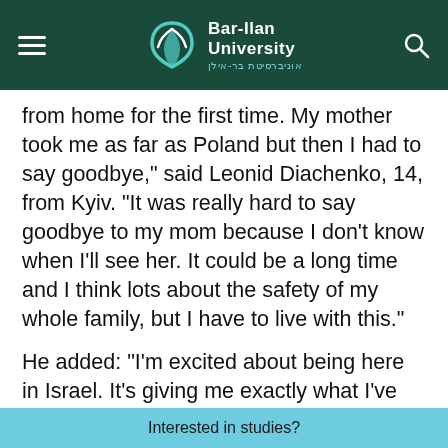Bar-Ilan University
from home for the first time.  My mother took me as far as Poland but then I had to say goodbye," said Leonid Diachenko, 14, from Kyiv. "It was really hard to say goodbye to my mom because I don't know when I'll see her. It could be a long time and I think lots about the safety of my whole family, but I have to live with this."
He added: "I'm excited about being here in Israel. It's giving me exactly what I've
Interested in studies?